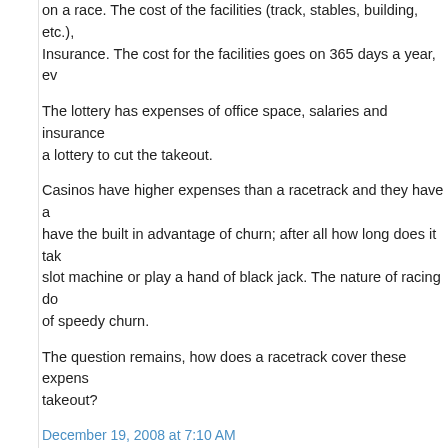on a race. The cost of the facilities (track, stables, building, etc.), Insurance. The cost for the facilities goes on 365 days a year, ev
The lottery has expenses of office space, salaries and insurance a lottery to cut the takeout.
Casinos have higher expenses than a racetrack and they have a have the built in advantage of churn; after all how long does it tak slot machine or play a hand of black jack. The nature of racing do of speedy churn.
The question remains, how does a racetrack cover these expens takeout?
December 19, 2008 at 7:10 AM
Pull the Pocket said...
Valerie,
Nothing new that I have heard, but it appears he is a-ok. Ray has What a tough horse (if it was worse) to lose - from a car accident
Allan,
You answered your own question - churn. Lotteries tried it, we ha